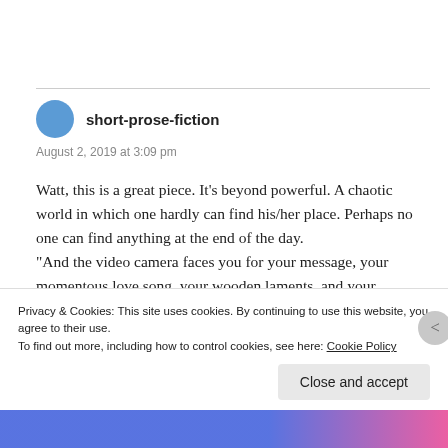short-prose-fiction
August 2, 2019 at 3:09 pm
Watt, this is a great piece. It's beyond powerful. A chaotic world in which one hardly can find his/her place. Perhaps no one can find anything at the end of the day.
"And the video camera faces you for your message, your momentous love song, your wooden laments, and your anguish all dolled up in a blank recorder that spans decades.
Privacy & Cookies: This site uses cookies. By continuing to use this website, you agree to their use.
To find out more, including how to control cookies, see here: Cookie Policy
Close and accept